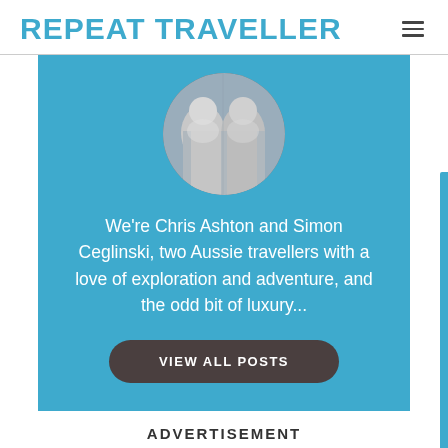REPEAT TRAVELLER
[Figure (photo): Circular profile photo of two men smiling, black and white / desaturated tone]
We're Chris Ashton and Simon Ceglinski, two Aussie travellers with a love of exploration and adventure, and the odd bit of luxury...
VIEW ALL POSTS
ADVERTISEMENT